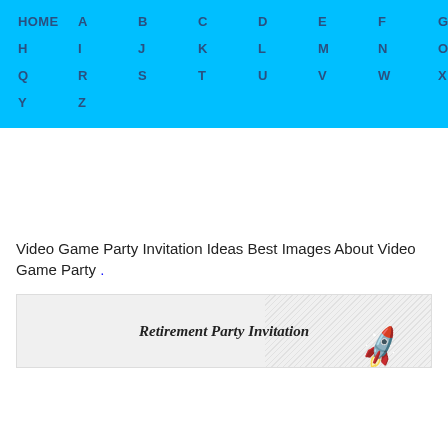HOME  A  B  C  D  E  F  G  H  I  J  K  L  M  N  O  P  Q  R  S  T  U  V  W  X  Y  Z
Video Game Party Invitation Ideas Best Images About Video Game Party .
[Figure (photo): Thumbnail image showing Retirement Party Invitation text with decorative rocket and dotted background]